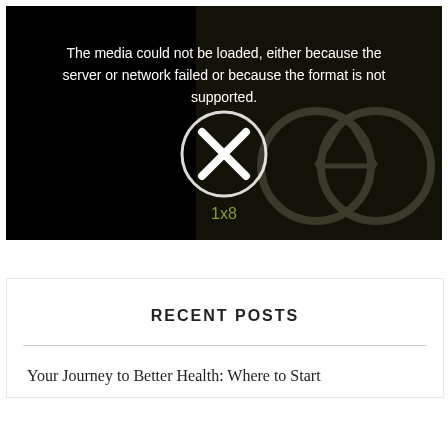[Figure (screenshot): Video player showing a media load error. Black background with dark video background on the right half showing a bicycle/exercise equipment scene. White text reads 'The media could not be loaded, either because the server or network failed or because the format is not supported.' A circle with an X icon is shown in the center. '1x8' is shown in olive/yellow-green color at the bottom center.]
RECENT POSTS
Your Journey to Better Health: Where to Start